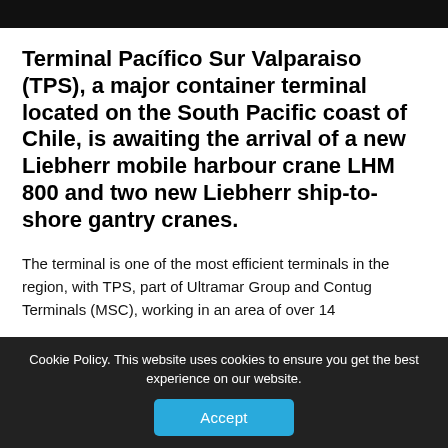Terminal Pacífico Sur Valparaiso (TPS), a major container terminal located on the South Pacific coast of Chile, is awaiting the arrival of a new Liebherr mobile harbour crane LHM 800 and two new Liebherr ship-to-shore gantry cranes.
The terminal is one of the most efficient terminals in the region, with TPS, part of Ultramar Group and Contug Terminals (MSC), working in an area of over 14
Cookie Policy. This website uses cookies to ensure you get the best experience on our website. Accept